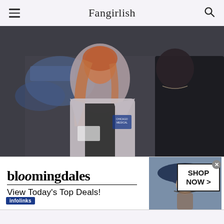Fangirlish
[Figure (photo): Scene from Chicago Med showing a red-haired woman in a grey lab coat (Sarah Rafferty as Dr. Pamela Blake) facing a man in a black top (Dominic Rains as Dr. Crockett Marcel), with blurred blue hospital background.]
CHICAGO MED — “If You Love Someone, Set Them Free” Episode 717 — Pictured: (l-r) Sarah Rafferty as Dr. Pamela Blake, Dominic Rains as Dr. Crockett (Photo by George Burns Jr/NBC)
[Figure (screenshot): Bloomingdales advertisement banner: logo, 'View Today's Top Deals!' tagline, woman in large hat photo, and SHOP NOW > button.]